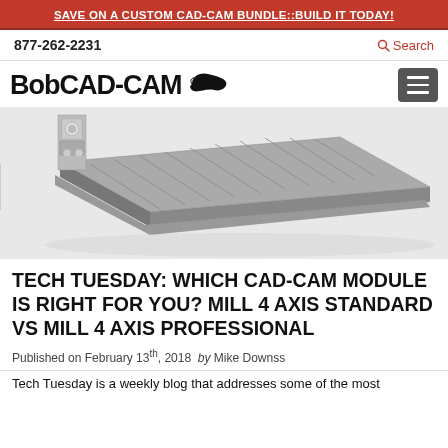SAVE ON A CUSTOM CAD-CAM BUNDLE::BUILD IT TODAY!
877-262-2231   Search
[Figure (logo): BobCAD-CAM logo with fish icon and hamburger menu button]
[Figure (photo): 3D CAD rendering of a CNC milling machine table/bed viewed from an angle, showing a gray metal worktable with T-slots and a spindle unit at the back left]
TECH TUESDAY: WHICH CAD-CAM MODULE IS RIGHT FOR YOU? MILL 4 AXIS STANDARD VS MILL 4 AXIS PROFESSIONAL
Published on February 13th, 2018   by Mike Downss
Tech Tuesday is a weekly blog that addresses some of the most